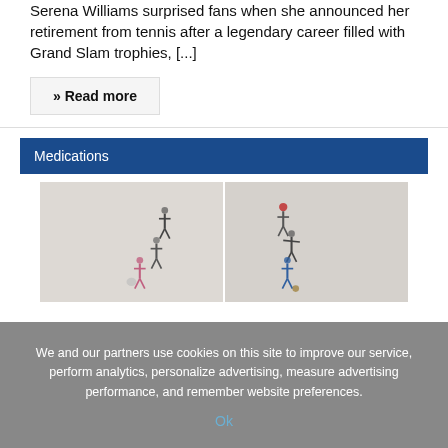Serena Williams surprised fans when she announced her retirement from tennis after a legendary career filled with Grand Slam trophies, [...]
» Read more
Medications
[Figure (photo): Aerial view of people walking on a light-colored surface, split into two panels]
We and our partners use cookies on this site to improve our service, perform analytics, personalize advertising, measure advertising performance, and remember website preferences.
Ok